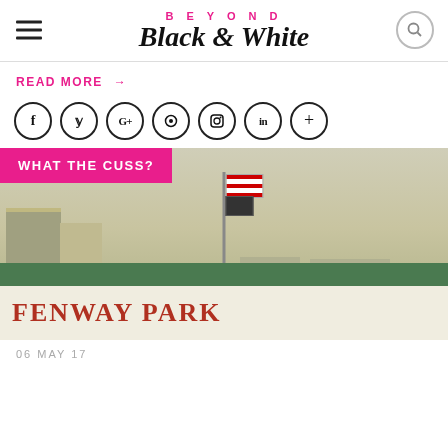BEYOND Black & White
READ MORE →
[Figure (other): Social media icons in circles: Facebook, Twitter, Google+, Pinterest, Instagram, LinkedIn, Plus]
[Figure (photo): Photo of Fenway Park exterior with American flag and dark flag on flagpole, green wall visible, with overlaid pink category badge reading WHAT THE CUSS?]
06 MAY 17